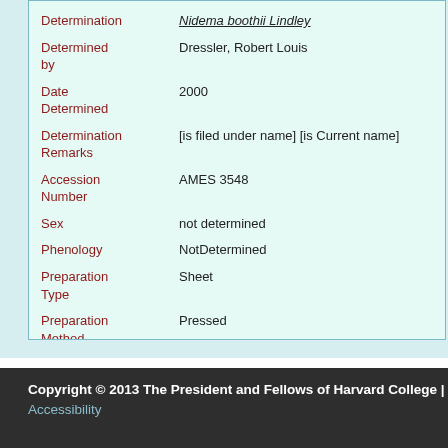| Determination | Nidema boothii Lindley |
| Determined by | Dressler, Robert Louis |
| Date Determined | 2000 |
| Determination Remarks | [is filed under name] [is Current name] |
| Accession Number | AMES 3548 |
| Sex | not determined |
| Phenology | NotDetermined |
| Preparation Type | Sheet |
| Preparation Method | Pressed |
Copyright © 2013 The President and Fellows of Harvard College | Accessibility